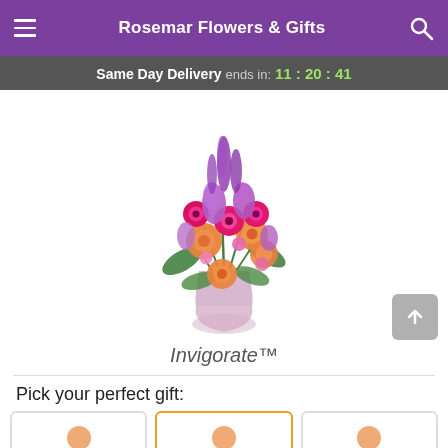Rosemar Flowers & Gifts
Same Day Delivery ends in: 11:20:41
[Figure (photo): A vibrant flower bouquet arrangement in a glass vase featuring orange roses, hot-pink gerbera daisies, and purple stock flowers with green foliage.]
Invigorate™
Pick your perfect gift: